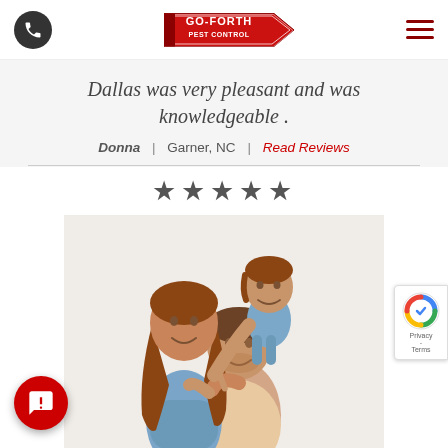[Figure (logo): Go-Forth Pest Control logo — red arrow sign with company name]
Dallas was very pleasant and was knowledgeable .
Donna  |  Garner, NC  |  Read Reviews
★★★★★
[Figure (photo): Happy family — mother, father with daughter on his shoulders, all smiling, casual clothing]